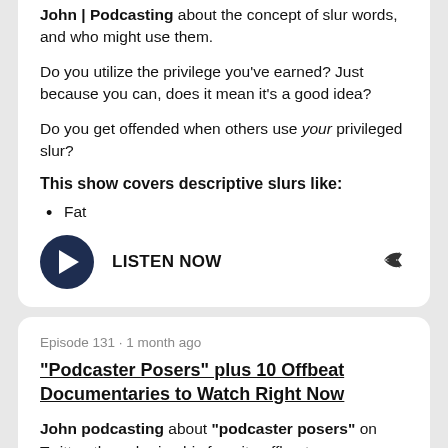John | Podcasting about the concept of slur words, and who might use them.
Do you utilize the privilege you've earned? Just because you can, does it mean it's a good idea?
Do you get offended when others use your privileged slur?
This show covers descriptive slurs like:
Fat
LISTEN NOW
Episode 131 · 1 month ago
“Podcaster Posers” plus 10 Offbeat Documentaries to Watch Right Now
John podcasting about “podcaster posers” on Twitter, then sharing his favorite offbeat